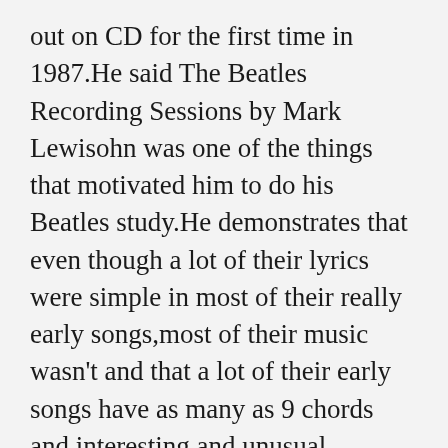out on CD for the first time in 1987.He said The Beatles Recording Sessions by Mark Lewisohn was one of the things that motivated him to do his Beatles study.He demonstrates that even though a lot of their lyrics were simple in most of their really early songs,most of their music wasn't and that a lot of their early songs have as many as 9 chords and interesting and unusual arrangements.Paul's great rocker,You Never Give Me You're Money on their excellent amazingly modern sounding rock album, Abbey Road has 21